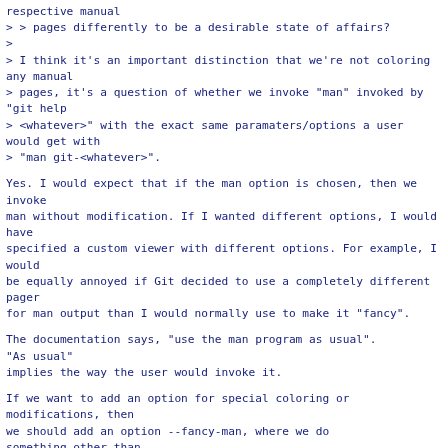respective manual
> > pages differently to be a desirable state of affairs?
>
> I think it's an important distinction that we're not coloring any manual
> pages, it's a question of whether we invoke "man" invoked by "git help
> <whatever>" with the exact same paramaters/options a user would get with
> "man git-<whatever>".
Yes.  I would expect that if the man option is chosen, then we invoke
man without modification.  If I wanted different options, I would have
specified a custom viewer with different options.  For example, I would
be equally annoyed if Git decided to use a completely different pager
for man output than I would normally use to make it "fancy".
The documentation says, "use the man program as usual".
"As usual"
implies the way the user would invoke it.
If we want to add an option for special coloring or modifications, then
we should add an option --fancy-man, where we do
something other than